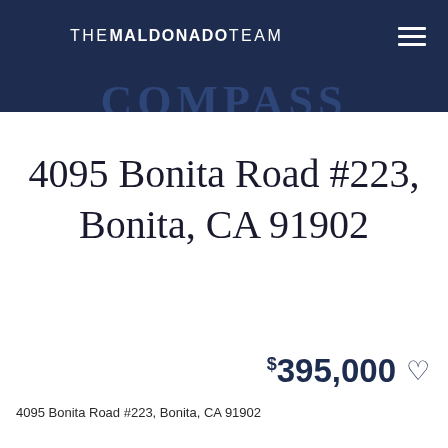THE MALDONADO TEAM
4095 Bonita Road #223, Bonita, CA 91902
$395,000
4095 Bonita Road #223, Bonita, CA 91902